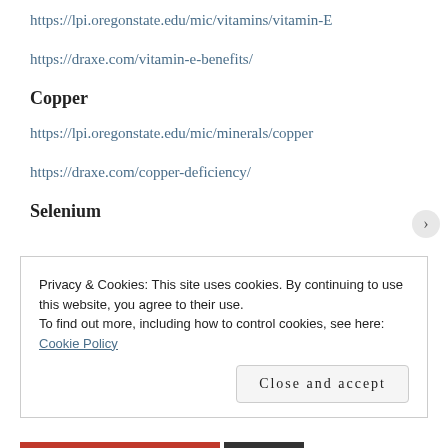https://lpi.oregonstate.edu/mic/vitamins/vitamin-E
https://draxe.com/vitamin-e-benefits/
Copper
https://lpi.oregonstate.edu/mic/minerals/copper
https://draxe.com/copper-deficiency/
Selenium
Privacy & Cookies: This site uses cookies. By continuing to use this website, you agree to their use.
To find out more, including how to control cookies, see here: Cookie Policy
Close and accept